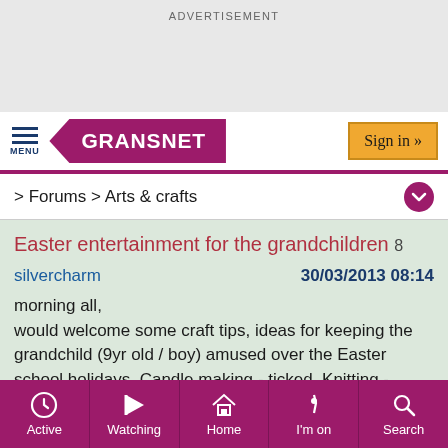ADVERTISEMENT
[Figure (screenshot): Gransnet mobile website header with MENU icon, GRANSNET logo in purple arrow banner, and Sign in button]
> Forums > Arts & crafts
Easter entertainment for the grandchildren  8
silvercharm   30/03/2013 08:14
morning all,
would welcome some craft tips, ideas for keeping the grandchild (9yr old / boy) amused over the Easter school holidays. Candle making - ticked. Knitting - ticked. Anything as a stimulating alternative to another
Active  Watching  Home  I'm on  Search